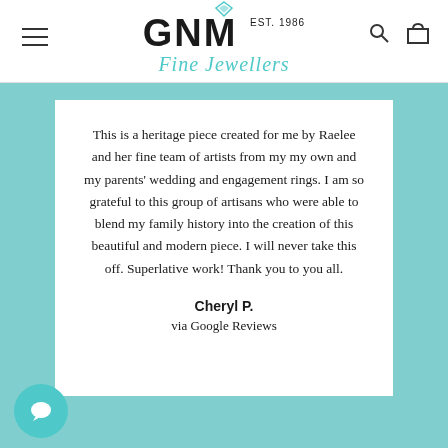GNM EST. 1986 Fine Jewellers
This is a heritage piece created for me by Raelee and her fine team of artists from my my own and my parents' wedding and engagement rings. I am so grateful to this group of artisans who were able to blend my family history into the creation of this beautiful and modern piece. I will never take this off. Superlative work! Thank you to you all.
Cheryl P.
via Google Reviews